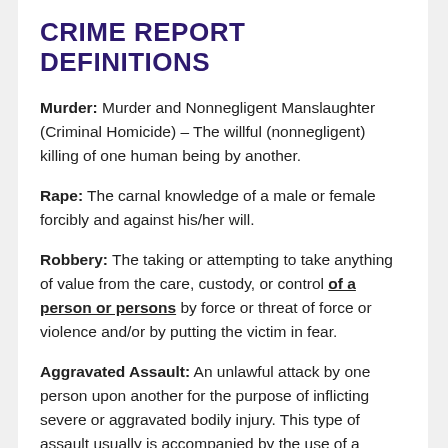CRIME REPORT DEFINITIONS
Murder: Murder and Nonnegligent Manslaughter (Criminal Homicide) – The willful (nonnegligent) killing of one human being by another.
Rape: The carnal knowledge of a male or female forcibly and against his/her will.
Robbery: The taking or attempting to take anything of value from the care, custody, or control of a person or persons by force or threat of force or violence and/or by putting the victim in fear.
Aggravated Assault: An unlawful attack by one person upon another for the purpose of inflicting severe or aggravated bodily injury. This type of assault usually is accompanied by the use of a